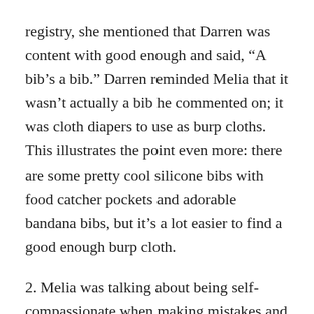registry, she mentioned that Darren was content with good enough and said, “A bib’s a bib.” Darren reminded Melia that it wasn’t actually a bib he commented on; it was cloth diapers to use as burp cloths. This illustrates the point even more: there are some pretty cool silicone bibs with food catcher pockets and adorable bandana bibs, but it’s a lot easier to find a good enough burp cloth.
2. Melia was talking about being self-compassionate when making mistakes and modeling that for your kids. She said when she gets lost, she doesn’t say, “I’m so stupid” because